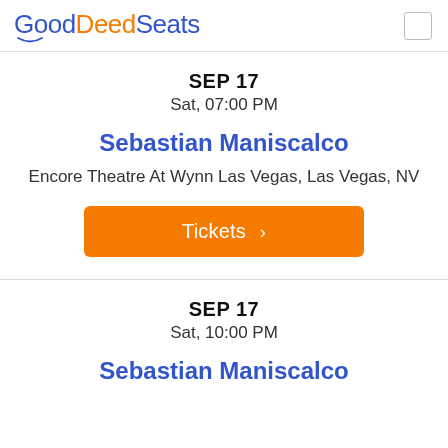GoodDeedSeats
SEP 17
Sat, 07:00 PM
Sebastian Maniscalco
Encore Theatre At Wynn Las Vegas, Las Vegas, NV
Tickets >
SEP 17
Sat, 10:00 PM
Sebastian Maniscalco